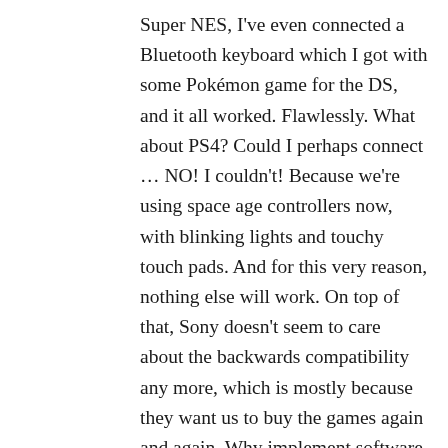Super NES, I've even connected a Bluetooth keyboard which I got with some Pokémon game for the DS, and it all worked. Flawlessly. What about PS4? Could I perhaps connect … NO! I couldn't! Because we're using space age controllers now, with blinking lights and touchy touch pads. And for this very reason, nothing else will work. On top of that, Sony doesn't seem to care about the backwards compatibility any more, which is mostly because they want us to buy the games again and again. Why implement software emulation for PlayStation, PlayStation 2, PSP, PSN minis and other cross-platform digital releases, if you can stream them or sell them once again, as special digital titles for the